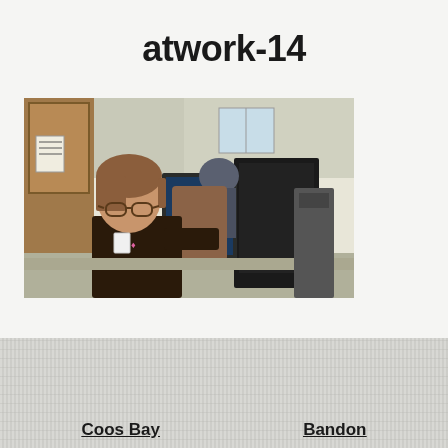atwork-14
[Figure (photo): A female nurse or healthcare worker in dark scrubs wearing glasses and a badge, seated at a workstation with computer monitors in a hospital or clinic setting. A male colleague is visible in the background also working at a computer.]
Coos Bay
Bandon